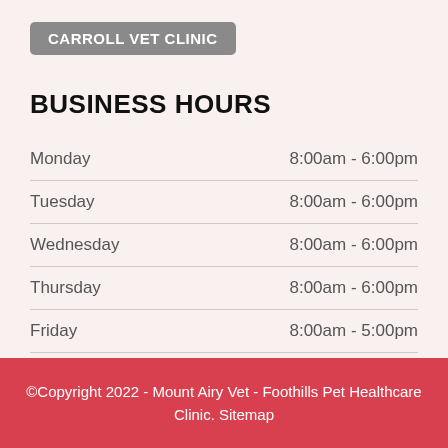CARROLL VET CLINIC
BUSINESS HOURS
| Day | Hours |
| --- | --- |
| Monday | 8:00am - 6:00pm |
| Tuesday | 8:00am - 6:00pm |
| Wednesday | 8:00am - 6:00pm |
| Thursday | 8:00am - 6:00pm |
| Friday | 8:00am - 5:00pm |
| Saturday | 8:00am - 11:30am |
| Sunday | Closed |
©Copyright 2022 - Mount Airy Vet - Foothills Pet Healthcare Clinic. Sitemap